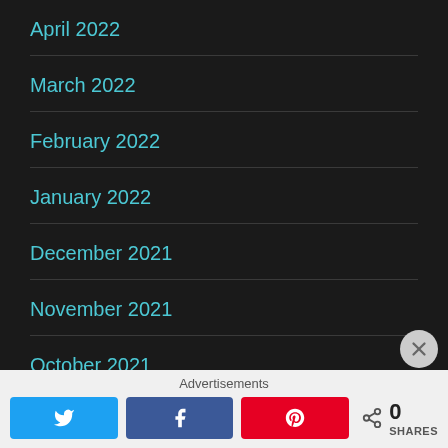April 2022
March 2022
February 2022
January 2022
December 2021
November 2021
October 2021
Advertisements
0 SHARES